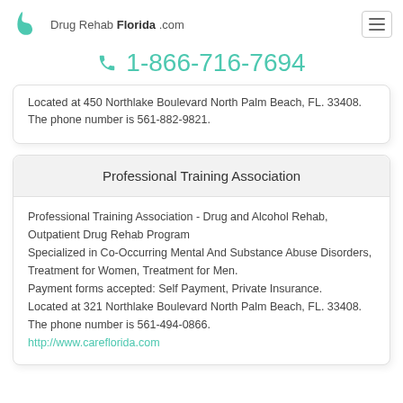Drug Rehab Florida .com
1-866-716-7694
Located at 450 Northlake Boulevard North Palm Beach, FL. 33408. The phone number is 561-882-9821.
Professional Training Association
Professional Training Association - Drug and Alcohol Rehab, Outpatient Drug Rehab Program Specialized in Co-Occurring Mental And Substance Abuse Disorders, Treatment for Women, Treatment for Men. Payment forms accepted: Self Payment, Private Insurance. Located at 321 Northlake Boulevard North Palm Beach, FL. 33408. The phone number is 561-494-0866. http://www.careflorida.com